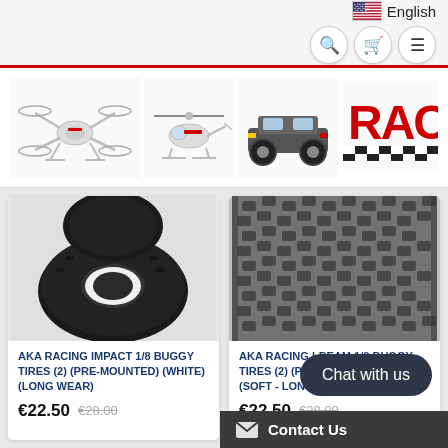English
[Figure (screenshot): Website banner with RC drone, helicopter, race car images and RAC logo]
[Figure (photo): AKA Racing Impact 1/8 buggy tire close-up, black rubber tire]
AKA RACING IMPACT 1/8 BUGGY TIRES (2) (PRE-MOUNTED) (WHITE) (LONG WEAR)
€22.50  €28.00
[Figure (photo): AKA Racing I-Beam 1/8 buggy tire close-up, black knobby rubber tire]
AKA RACING I-BEAM 1/8 BUGGY TIRES (2) (PRE-MOUNTED) (WHITE) (SOFT - LONG WEAR)
€22.50  €28.00
Chat with us
Contact Us